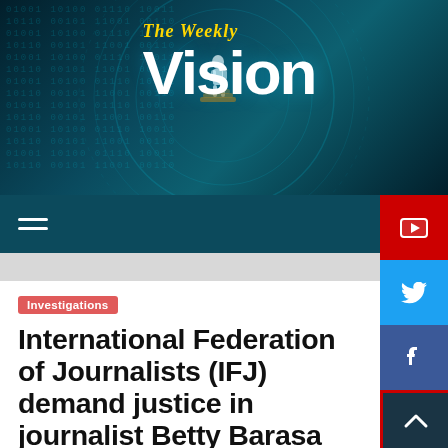[Figure (logo): The Weekly Vision news website logo on a dark teal digital background with binary code overlay and circular tech graphic]
The Weekly Vision
Investigations
International Federation of Journalists (IFJ) demand justice in journalist Betty Barasa murder case
November 22, 2021